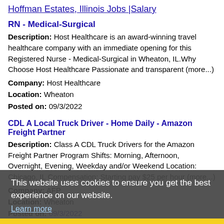Hoffman Estates, Illinois Jobs |Salary
RN - Medical-Surgical
Description: Host Healthcare is an award-winning travel healthcare company with an immediate opening for this Registered Nurse - Medical-Surgical in Wheaton, IL. Why Choose Host Healthcare Passionate and transparent (more...)
Company: Host Healthcare
Location: Wheaton
Posted on: 09/3/2022
CDL A Local Truck Driver - Home Daily - Amazon Freight Partner
Description: Class A CDL Truck Drivers for the Amazon Freight Partner Program Shifts: Morning, Afternoon, Overnight, Evening, Weekday and/or Weekend Location: Chicago, IL Compensation: Starting pay $25 per hour (more...)
Company: AFP
Location: Wheaton
Posted on: 09/3/2022
Chiropractor - 1038182
Description: Chiropractors licensed in any state are welcome to apply. We will wait for you to become licensed. Location: Wheaton,